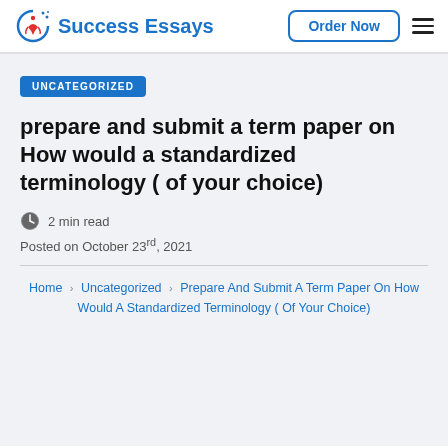Success Essays | Order Now
UNCATEGORIZED
prepare and submit a term paper on How would a standardized terminology ( of your choice)
2 min read
Posted on October 23rd, 2021
Home > Uncategorized > Prepare And Submit A Term Paper On How Would A Standardized Terminology ( Of Your Choice)